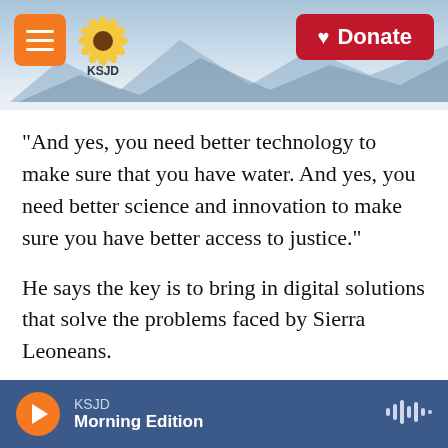KSJD — Menu / Logo / Donate
"And yes, you need better technology to make sure that you have water. And yes, you need better science and innovation to make sure you have better access to justice."
He says the key is to bring in digital solutions that solve the problems faced by Sierra Leoneans.
Sengeh pushed to make key info from the government website – like the national calendar so people know when offices are closed for holidays — available on a standard cell phone. Then it's accessible even to people who don't own a smart
KSJD — Morning Edition